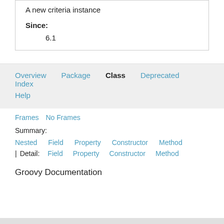A new criteria instance
Since:
6.1
Overview   Package   Class   Deprecated   Index
Help
Frames   No Frames
Summary:
Nested   Field   Property   Constructor   Method
| Detail:   Field   Property   Constructor   Method
Groovy Documentation